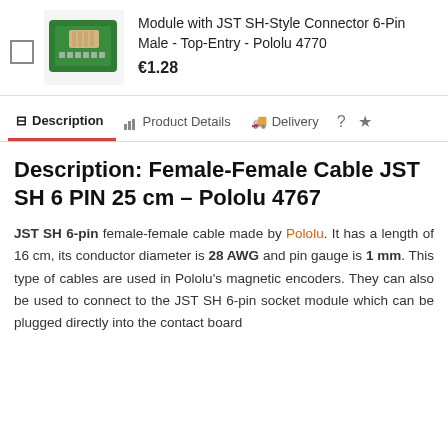[Figure (photo): Green PCB module with JST SH-Style Connector 6-Pin Male Top-Entry]
Module with JST SH-Style Connector 6-Pin Male - Top-Entry - Pololu 4770
€1.28
Description
Product Details
Delivery
Description: Female-Female Cable JST SH 6 PIN 25 cm - Pololu 4767
JST SH 6-pin female-female cable made by Pololu. It has a length of 16 cm, its conductor diameter is 28 AWG and pin gauge is 1 mm. This type of cables are used in Pololu's magnetic encoders. They can also be used to connect to the JST SH 6-pin socket module which can be plugged directly into the contact board